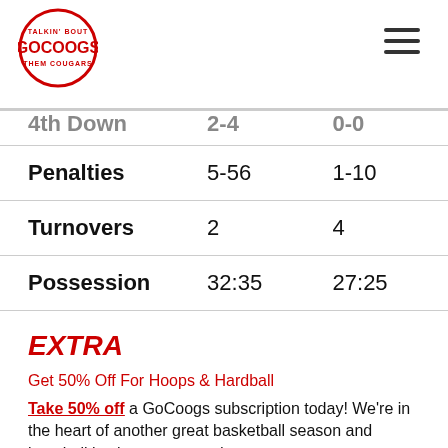GoCOOGS logo and navigation
|  | Col1 | Col2 |
| --- | --- | --- |
| Penalties | 5-56 | 1-10 |
| Turnovers | 2 | 4 |
| Possession | 32:35 | 27:25 |
EXTRA
Get 50% Off For Hoops & Hardball
Take 50% off a GoCoogs subscription today! We're in the heart of another great basketball season and baseball is about to get under way.